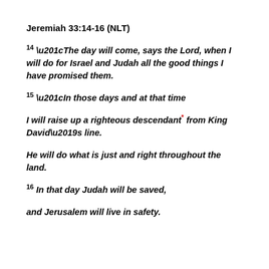Jeremiah 33:14-16 (NLT)
14 “The day will come, says the Lord, when I will do for Israel and Judah all the good things I have promised them.
15 “In those days and at that time
I will raise up a righteous descendant* from King David’s line.
He will do what is just and right throughout the land.
16 In that day Judah will be saved,
and Jerusalem will live in safety.